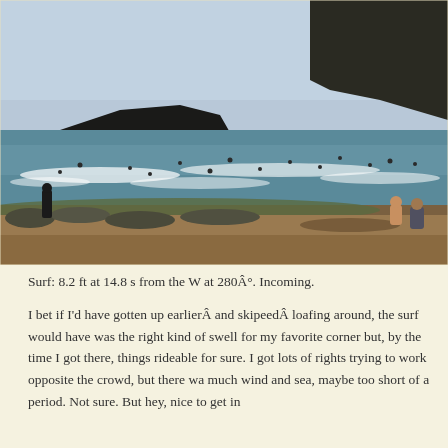[Figure (photo): Beach scene with surfers in the water, rocky shoreline in foreground, headland with dark hills and trees in background, blue-grey ocean with waves, two people sitting on rocks at right edge watching the surf.]
Surf: 8.2 ft at 14.8 s from the W at 280Â°. Incoming.
I bet if I'd have gotten up earlierÂ and skipeedÂ loafing around, the surf would have was the right kind of swell for my favorite corner but, by the time I got there, things rideable for sure. I got lots of rights trying to work opposite the crowd, but there wa much wind and sea, maybe too short of a period. Not sure. But hey, nice to get in